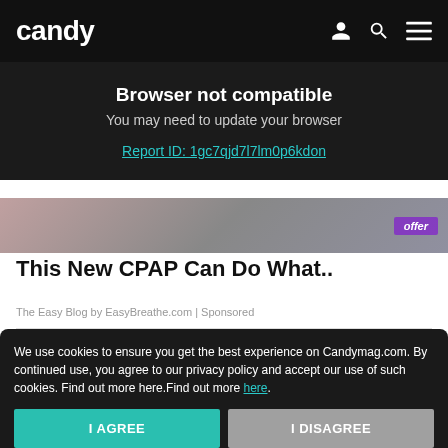candy
Browser not compatible
You may need to update your browser
Report ID: 1gc7qjd7l7lm0p6kdon
[Figure (photo): Partial article thumbnail image with offer badge]
This New CPAP Can Do What..
The Easy Blog by EasyBreathe.com | Sponsored
Read on App
[Figure (logo): Candy app icon - dark circular icon with stylized cat/letter shape]
We use cookies to ensure you get the best experience on Candymag.com. By continued use, you agree to our privacy policy and accept our use of such cookies. Find out more here.Find out more here.
I AGREE
I DISAGREE